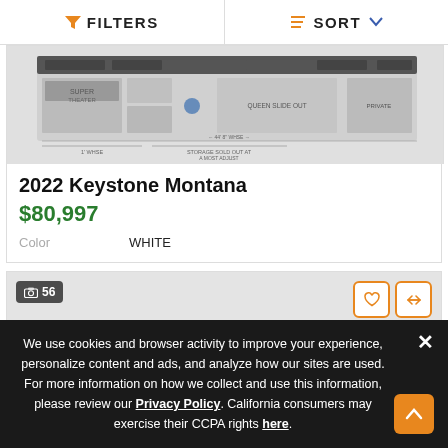FILTERS   SORT
[Figure (photo): Partial view of a 2022 Keystone Montana RV floor plan diagram]
2022 Keystone Montana
$80,997
Color   WHITE
[Figure (photo): Second product listing image area with photo count badge '56' and action buttons]
We use cookies and browser activity to improve your experience, personalize content and ads, and analyze how our sites are used. For more information on how we collect and use this information, please review our Privacy Policy. California consumers may exercise their CCPA rights here.